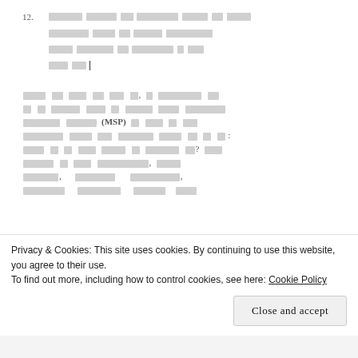12. [redacted text spanning four lines with cursor at end]
[redacted paragraph text containing '(MSP)' and ending with ':' followed by redacted question and additional redacted lines]
Privacy & Cookies: This site uses cookies. By continuing to use this website, you agree to their use.
To find out more, including how to control cookies, see here: Cookie Policy
Close and accept